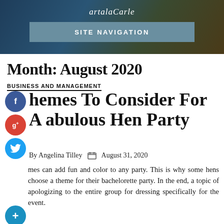artalacarle
[Figure (screenshot): Site navigation button on dark banner background]
Month: August 2020
BUSINESS AND MANAGEMENT
Themes To Consider For A Fabulous Hen Party
By Angelina Tilley   August 31, 2020
Themes can add fun and color to any party. This is why some hens choose a theme for their bachelorette party. In the end, a topic of apologizing to the entire group for dressing specifically for the event.